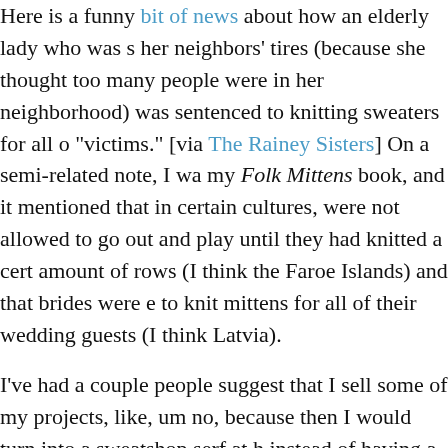Here is a funny bit of news about how an elderly lady who was [slashing] her neighbors' tires (because she thought too many people were [driving] in her neighborhood) was sentenced to knitting sweaters for all of her "victims." [via The Rainey Sisters] On a semi-related note, I was reading my Folk Mittens book, and it mentioned that in certain cultures, children were not allowed to go out and play until they had knitted a certain amount of rows (I think the Faroe Islands) and that brides were expected to knit mittens for all of their wedding guests (I think Latvia).
I've had a couple people suggest that I sell some of my projects, and I'm like, um no, because then I would turn into a sweatshop serf at home instead of having a fun little hobby. I would guess that's how people who had to knit might feel, instead of those who do it for fun. Here, obviously, is the place to link again to that Freakonomics article about knitting, with the salient quote being, "Whether or not you're getting paid, it's work if someone else tells you to do it and leisure if you choose to do it yourself."
Though on a side note, I am actually rather fascinated by the economics of how people try to make money from their knitting hobby, particularly designers. Sometimes I think that the knitting designers (on the